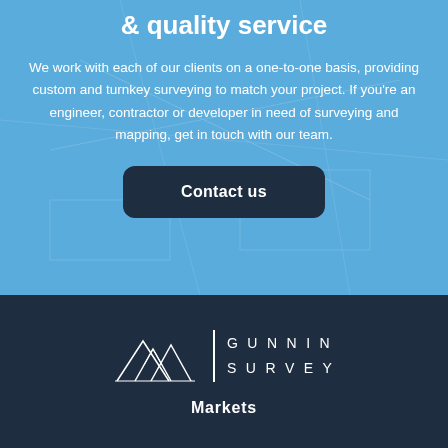& quality service
We work with each of our clients on a one-to-one basis, providing custom and turnkey surveying to match your project. If you're an engineer, contractor or developer in need of surveying and mapping, get in touch with our team.
Contact us
[Figure (logo): Gunnin Survey logo: mountain outline graphic with vertical divider and text 'GUNNIN SURVEY' in spaced capitals]
Markets